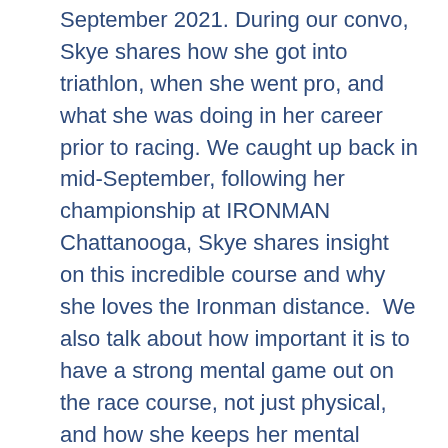September 2021. During our convo, Skye shares how she got into triathlon, when she went pro, and what she was doing in her career prior to racing. We caught up back in mid-September, following her championship at IRONMAN Chattanooga, Skye shares insight on this incredible course and why she loves the Ironman distance.  We also talk about how important it is to have a strong mental game out on the race course, not just physical, and how she keeps her mental fitness strong.  We also talk health and fueling and her partnership with Supersapiens, as well as other great gear she loves. Skye also shares her top recovery go-to's and what she loves to do, when she's not racing. This convo is fun and fast, so hang on! Get ready to be inspired.